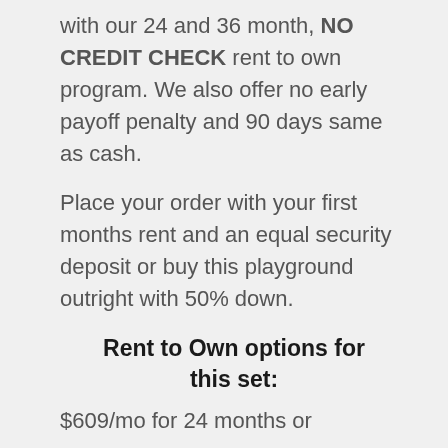with our 24 and 36 month, NO CREDIT CHECK rent to own program. We also offer no early payoff penalty and 90 days same as cash.
Place your order with your first months rent and an equal security deposit or buy this playground outright with 50% down.
Rent to Own options for this set:
$609/mo for 24 months or